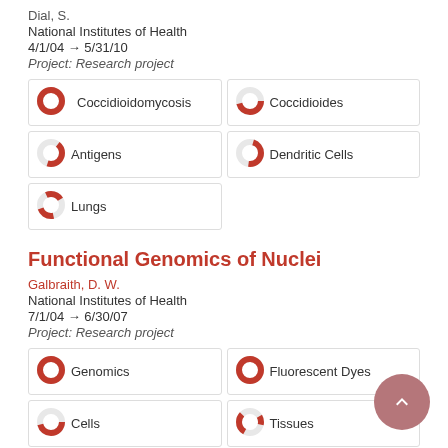Dial, S.
National Institutes of Health
4/1/04 → 5/31/10
Project: Research project
Coccidioidomycosis
Coccidioides
Antigens
Dendritic Cells
Lungs
Functional Genomics of Nuclei
Galbraith, D. W.
National Institutes of Health
7/1/04 → 6/30/07
Project: Research project
Genomics
Fluorescent Dyes
Cells
Tissues
Promoter Regions